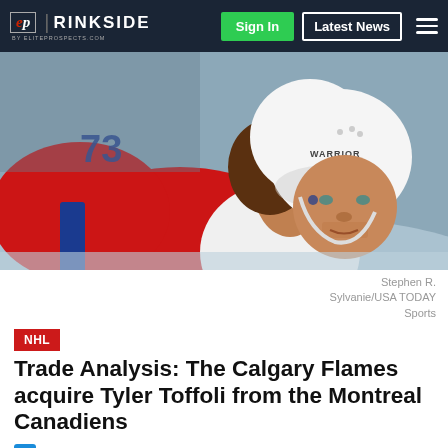ep | RINKSIDE by eliteprospects.com — Sign In | Latest News
[Figure (photo): Hockey player wearing #73 white jersey with Warrior helmet, red and white Montreal Canadiens-style uniform, leaning forward intensely on the ice]
Stephen R. Sylvanie/USA TODAY Sports
NHL
Trade Analysis: The Calgary Flames acquire Tyler Toffoli from the Montreal Canadiens
February 14th, 19:54
Dimitri Filipovic